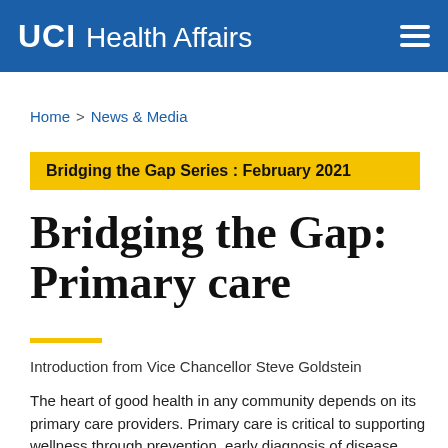UCI Health Affairs
Home > News & Media
Bridging the Gap Series : February 2021
Bridging the Gap: Primary care
Introduction from Vice Chancellor Steve Goldstein
The heart of good health in any community depends on its primary care providers. Primary care is critical to supporting wellness through prevention, early diagnosis of disease, and for the care that continues throughout